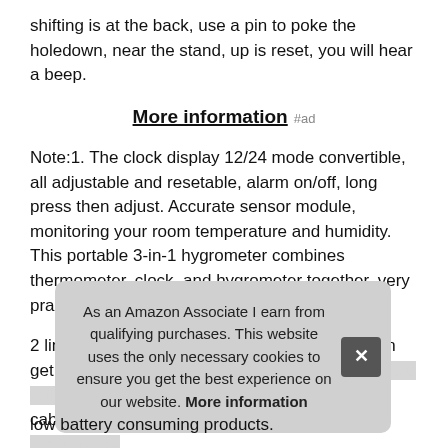shifting is at the back, use a pin to poke the holedown, near the stand, up is reset, you will hear a beep.
More information #ad
Note:1. The clock display 12/24 mode convertible, all adjustable and resetable, alarm on/off, long press then adjust. Accurate sensor module, monitoring your room temperature and humidity. This portable 3-in-1 hygrometer combines thermometer, clock, and hygrometer together, very practical for home or industry.2
2 lines to display the in/out temperature, you can get more acc... cab... max... mac... Wire... low battery consuming products.
As an Amazon Associate I earn from qualifying purchases. This website uses the only necessary cookies to ensure you get the best experience on our website. More information